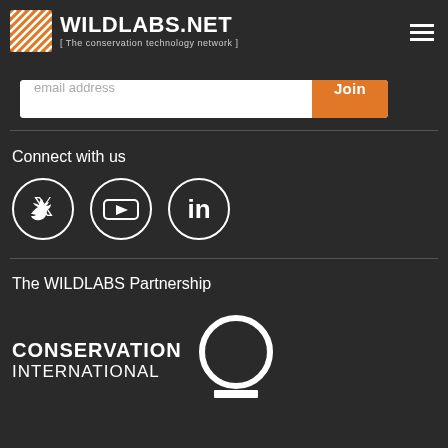[Figure (logo): WILDLABS.NET logo with striped icon and tagline 'The conservation technology network']
email address
Join
Connect with us
[Figure (illustration): Three social media icons in circles: Twitter bird, YouTube play button, LinkedIn 'in' logo]
The WILDLABS Partnership
[Figure (logo): Conservation International logo: bold text 'CONSERVATION INTERNATIONAL' with circle icon]